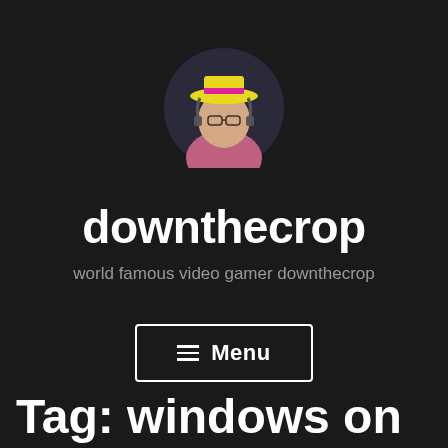[Figure (photo): Circular avatar of a person wearing a bright yellow hat with a pink brim, sitting in a gaming chair, colorful background]
downthecrop
world famous video gamer downthecrop
≡ Menu
Tag: windows on